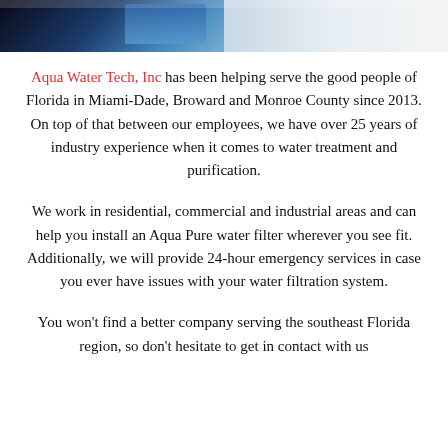[Figure (photo): Partial photo showing water filtration equipment or pipes with blue/dark tones at the top of the page]
Aqua Water Tech, Inc has been helping serve the good people of Florida in Miami-Dade, Broward and Monroe County since 2013. On top of that between our employees, we have over 25 years of industry experience when it comes to water treatment and purification.
We work in residential, commercial and industrial areas and can help you install an Aqua Pure water filter wherever you see fit. Additionally, we will provide 24-hour emergency services in case you ever have issues with your water filtration system.
You won't find a better company serving the southeast Florida region, so don't hesitate to get in contact with us